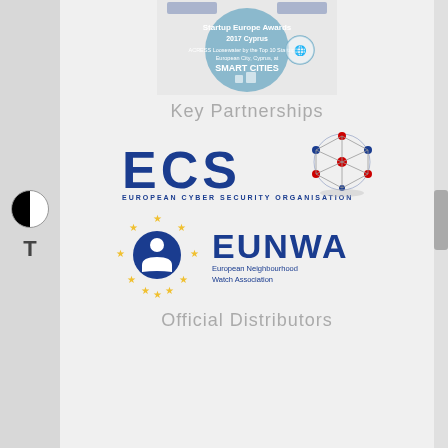[Figure (photo): Startup Europe Awards 2017 Cyprus - Smart Cities award certificate/badge with circular design]
Key Partnerships
[Figure (logo): ECS - European Cyber Security Organisation logo with blue text and molecular globe graphic]
[Figure (logo): EUNWA - European Neighbourhood Watch Association logo with circular star ring emblem and blue text]
Official Distributors